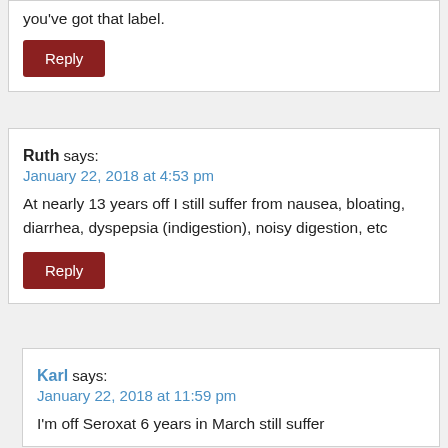you've got that label.
Reply
Ruth says:
January 22, 2018 at 4:53 pm
At nearly 13 years off I still suffer from nausea, bloating, diarrhea, dyspepsia (indigestion), noisy digestion, etc
Reply
Karl says:
January 22, 2018 at 11:59 pm
I'm off Seroxat 6 years in March still suffer